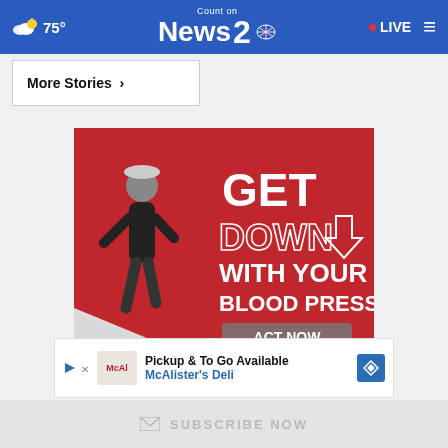75° | Count on News 2 NBC | LIVE
More Stories ›
[Figure (photo): Advertisement: 'GET DOWN WITH YOUR BLOOD PRESSURE - ACT NOW' red background ad featuring a man jumping, in partnership with the Office of Minority Health and Health Resources & Services Administration.]
[Figure (photo): McAlister's Deli advertisement: 'Pickup & To Go Available - McAlister's Deli' with logo and navigation icon.]
SUBSCRIBE NOW